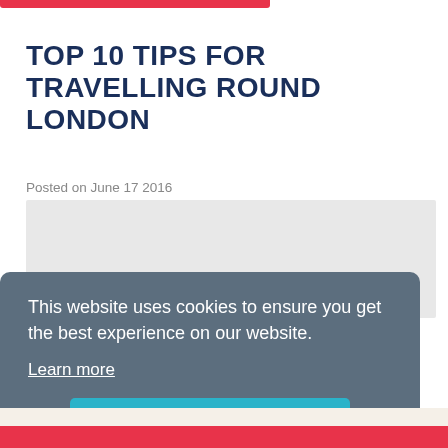TOP 10 TIPS FOR TRAVELLING ROUND LONDON
Posted on June 17 2016
[Figure (other): Gray image placeholder for article feature image]
This website uses cookies to ensure you get the best experience on our website.
Learn more
Got it!